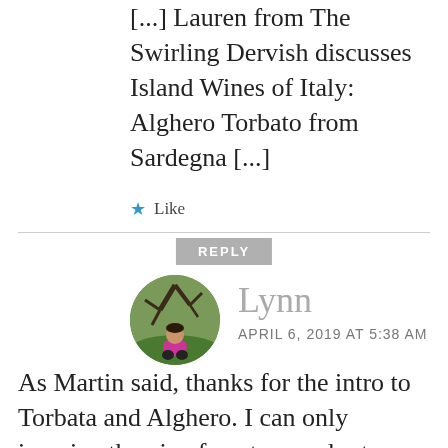[...] Lauren from The Swirling Dervish discusses Island Wines of Italy: Alghero Torbato from Sardegna [...]
★ Like
REPLY
[Figure (photo): Circular avatar photo of Lynn, a woman in a pink/magenta jacket crouching outdoors near a large old grapevine with bare branches and green grass in the background.]
Lynn
APRIL 6, 2019 AT 5:38 AM
As Martin said, thanks for the intro to Torbata and Alghero. I can only imagine the pine forests, eucalyptus, oleander and palm trees scattered about. The plant nursery Sela